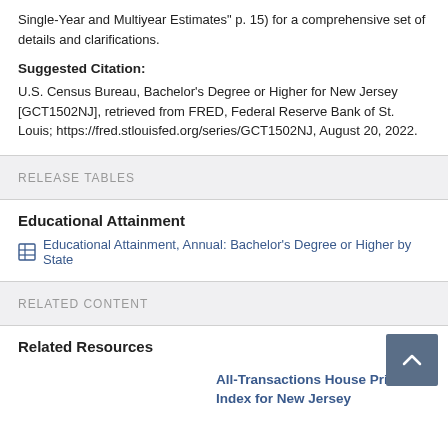Single-Year and Multiyear Estimates" p. 15) for a comprehensive set of details and clarifications.
Suggested Citation: U.S. Census Bureau, Bachelor's Degree or Higher for New Jersey [GCT1502NJ], retrieved from FRED, Federal Reserve Bank of St. Louis; https://fred.stlouisfed.org/series/GCT1502NJ, August 20, 2022.
RELEASE TABLES
Educational Attainment
Educational Attainment, Annual: Bachelor's Degree or Higher by State
RELATED CONTENT
Related Resources
All-Transactions House Price Index for New Jersey